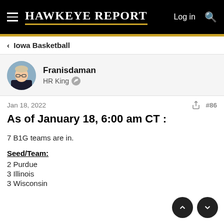Hawkeye Report
< Iowa Basketball
Franisdaman
HR King
Jan 18, 2022  #86
As of January 18, 6:00 am CT :
7 B1G teams are in.
Seed/Team:
2 Purdue
3 Illinois
3 Wisconsin